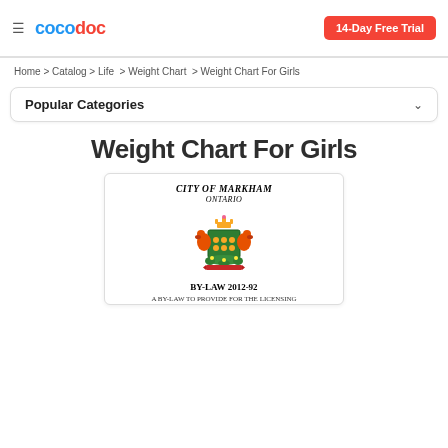coco doc  |  14-Day Free Trial
Home > Catalog > Life > Weight Chart > Weight Chart For Girls
Popular Categories
Weight Chart For Girls
[Figure (illustration): Document preview card showing City of Markham Ontario coat of arms / crest with text BY-LAW 2012-92 and partial subtitle 'A BY-LAW TO PROVIDE FOR THE LICENSING']